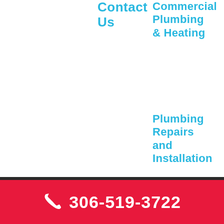Contact Us
Commercial Plumbing & Heating
Plumbing Repairs and Installation
Sewer and Drain Cleaning
306-519-3722